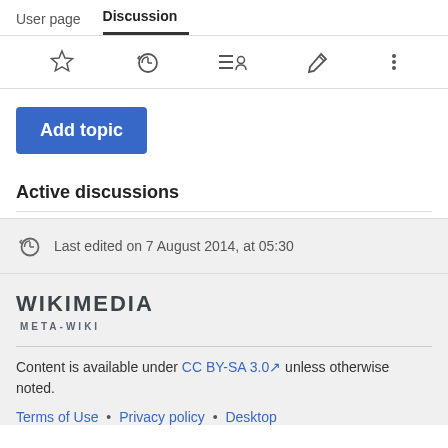User page  Discussion
[Figure (other): Toolbar icons: star (watchlist), history clock, contributors list, edit pencil, more options (three dots)]
Add topic
Active discussions
Last edited on 7 August 2014, at 05:30
[Figure (logo): Wikimedia META-WIKI logo]
Content is available under CC BY-SA 3.0 unless otherwise noted.
Terms of Use • Privacy policy • Desktop